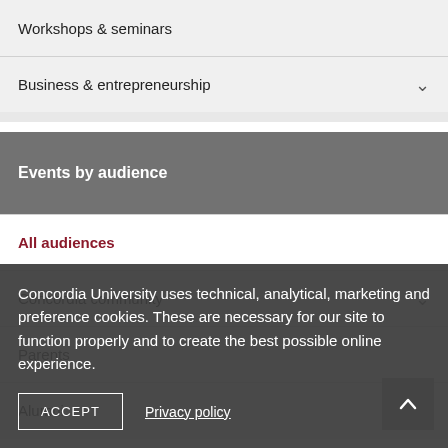Workshops & seminars
Business & entrepreneurship
Events by audience
All audiences
Concordia community
Parents
Alumni
By invitation only
Aborting students
Concordia University uses technical, analytical, marketing and preference cookies. These are necessary for our site to function properly and to create the best possible online experience.
ACCEPT
Privacy policy